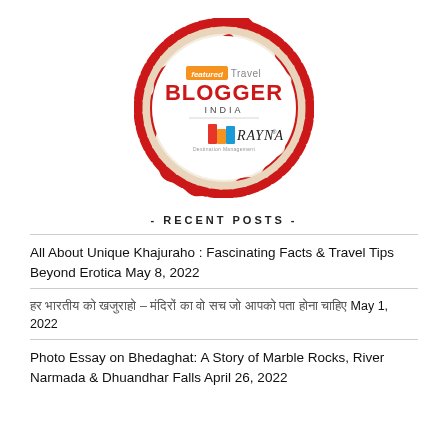[Figure (logo): Featured Travel Blogger India badge with Rayna logo — circular stamp shape with red scalloped border and beige inner ring. Text reads 'featured Travel BLOGGER INDIA' in red/grey with Rayna logo below.]
- RECENT POSTS -
All About Unique Khajuraho : Fascinating Facts & Travel Tips Beyond Erotica May 8, 2022
हर भारतीय को खजुराहो – मंदिरों का वो सच जो आपको पता होना चाहिए May 1, 2022
Photo Essay on Bhedaghat: A Story of Marble Rocks, River Narmada & Dhuandhar Falls April 26, 2022